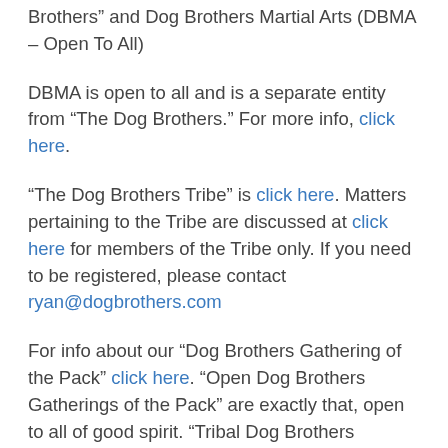Brothers” and Dog Brothers Martial Arts (DBMA – Open To All)
DBMA is open to all and is a separate entity from “The Dog Brothers.” For more info, click here.
“The Dog Brothers Tribe” is click here. Matters pertaining to the Tribe are discussed at click here for members of the Tribe only. If you need to be registered, please contact ryan@dogbrothers.com
For info about our “Dog Brothers Gathering of the Pack” click here. “Open Dog Brothers Gatherings of the Pack” are exactly that, open to all of good spirit. “Tribal Dog Brothers Gatherings of the